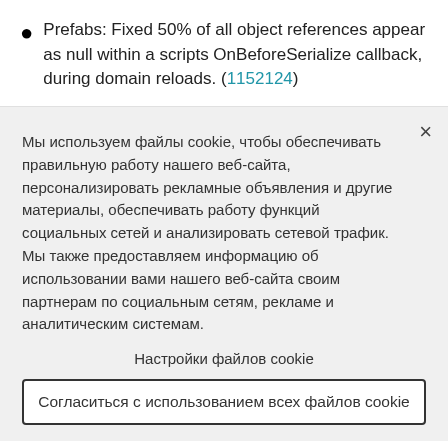Prefabs: Fixed 50% of all object references appear as null within a scripts OnBeforeSerialize callback, during domain reloads. (1152124)
Мы используем файлы cookie, чтобы обеспечивать правильную работу нашего веб-сайта, персонализировать рекламные объявления и другие материалы, обеспечивать работу функций социальных сетей и анализировать сетевой трафик. Мы также предоставляем информацию об использовании вами нашего веб-сайта своим партнерам по социальным сетям, рекламе и аналитическим системам.
Настройки файлов cookie
Согласиться с использованием всех файлов cookie